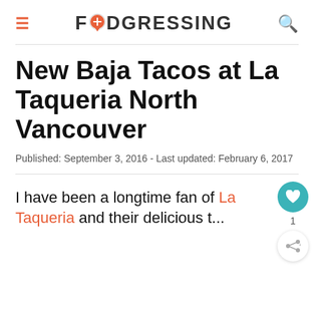FOODGRESSING
New Baja Tacos at La Taqueria North Vancouver
Published: September 3, 2016 - Last updated: February 6, 2017
I have been a longtime fan of La Taqueria and their delicious t...